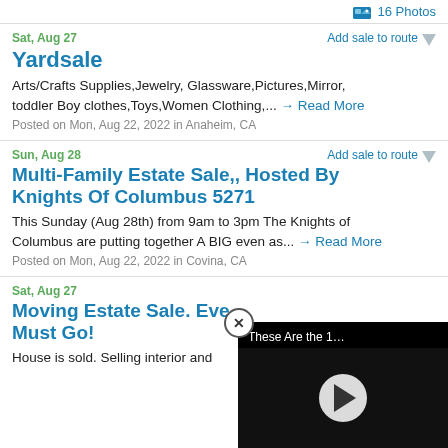16 Photos
Sat, Aug 27
Add sale to route
Yardsale
Arts/Crafts Supplies,Jewelry, Glassware,Pictures,Mirror, toddler Boy clothes,Toys,Women Clothing,... → Read More
Posted on Mon, Aug 22, 2022 in Anaheim, CA
Sun, Aug 28
Add sale to route
Multi-Family Estate Sale,, Hosted By Knights Of Columbus 5271
This Sunday (Aug 28th) from 9am to 3pm The Knights of Columbus are putting together A BIG even as... → Read More
Posted on Mon, Aug 22, 2022 in Covina, CA
Sat, Aug 27
Moving Estate Sale. Eve... Must Go!
House is sold. Selling interior and
[Figure (screenshot): Video player overlay with title 'These Are the 1…' and a play button, with close (X) button]